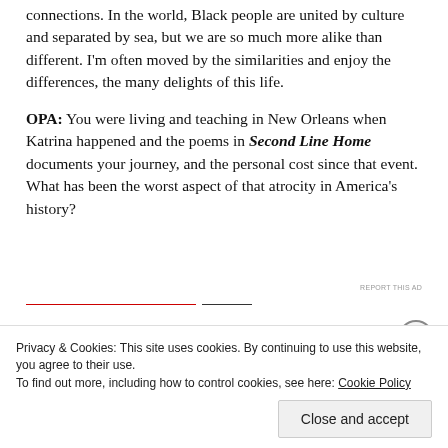connections. In the world, Black people are united by culture and separated by sea, but we are so much more alike than different. I'm often moved by the similarities and enjoy the differences, the many delights of this life.
OPA: You were living and teaching in New Orleans when Katrina happened and the poems in Second Line Home documents your journey, and the personal cost since that event.  What has been the worst aspect of that atrocity in America's history?
Privacy & Cookies: This site uses cookies. By continuing to use this website, you agree to their use.
To find out more, including how to control cookies, see here: Cookie Policy
Close and accept